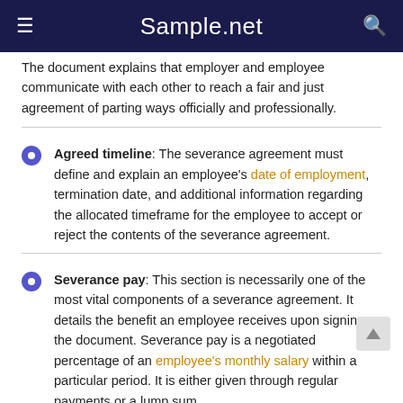Sample.net
The document explains that employer and employee communicate with each other to reach a fair and just agreement of parting ways officially and professionally.
Agreed timeline: The severance agreement must define and explain an employee's date of employment, termination date, and additional information regarding the allocated timeframe for the employee to accept or reject the contents of the severance agreement.
Severance pay: This section is necessarily one of the most vital components of a severance agreement. It details the benefit an employee receives upon signing the document. Severance pay is a negotiated percentage of an employee's monthly salary within a particular period. It is either given through regular payments or a lump sum.